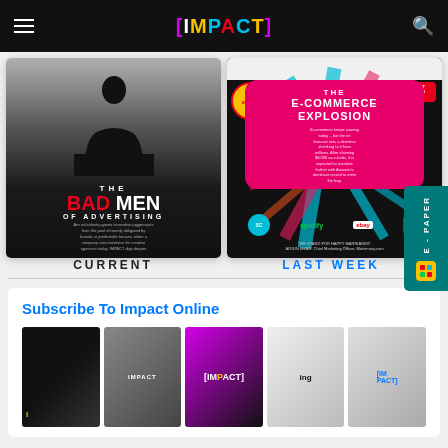[IMPACT]
[Figure (photo): Magazine cover: THE BAD MEN OF ADVERTISING - dark cover with silhouette of man in chair]
[Figure (photo): Magazine cover: THE E-COMMERCE EXPLOSION - colorful cover with pink phone graphic on dark background with brand logos]
CURRENT
LAST WEEK
Subscribe To Impact Online
[Figure (photo): Row of five Impact magazine covers shown as subscription promotion]